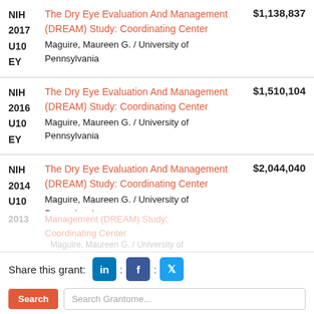| Agency/Year/Type/IC | Grant Title / PI / Institution | Amount |
| --- | --- | --- |
| NIH
2017
U10
EY | The Dry Eye Evaluation And Management (DREAM) Study: Coordinating Center
Maguire, Maureen G. / University of Pennsylvania | $1,138,837 |
| NIH
2016
U10
EY | The Dry Eye Evaluation And Management (DREAM) Study: Coordinating Center
Maguire, Maureen G. / University of Pennsylvania | $1,510,104 |
| NIH
2014
U10
EY | The Dry Eye Evaluation And Management (DREAM) Study: Coordinating Center
Maguire, Maureen G. / University of Pennsylvania | $2,044,040 |
| NIH
2013
U10
EY | The Dry Eye Evaluation And Management (DREAM) Study: Coordinating Center
Maguire, Maureen G. / University of Pennsylvania | $417,414 |
Share this grant:
Search Grantome...